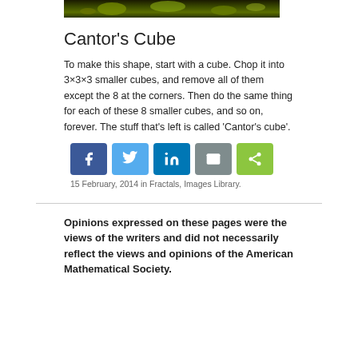[Figure (photo): Partial top image showing yellow-green plant/flower against dark background]
Cantor's Cube
To make this shape, start with a cube. Chop it into 3×3×3 smaller cubes, and remove all of them except the 8 at the corners. Then do the same thing for each of these 8 smaller cubes, and so on, forever. The stuff that's left is called 'Cantor's cube'.
[Figure (other): Social share buttons: Facebook, Twitter, LinkedIn, Email, Share]
15 February, 2014 in Fractals, Images Library.
Opinions expressed on these pages were the views of the writers and did not necessarily reflect the views and opinions of the American Mathematical Society.